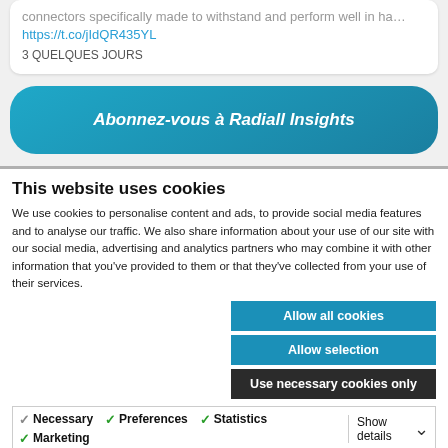connectors specifically made to withstand and perform well in ha… https://t.co/jIdQR435YL
3 QUELQUES JOURS
Abonnez-vous à Radiall Insights
This website uses cookies
We use cookies to personalise content and ads, to provide social media features and to analyse our traffic. We also share information about your use of our site with our social media, advertising and analytics partners who may combine it with other information that you've provided to them or that they've collected from your use of their services.
Allow all cookies
Allow selection
Use necessary cookies only
Necessary  Preferences  Statistics  Marketing  Show details